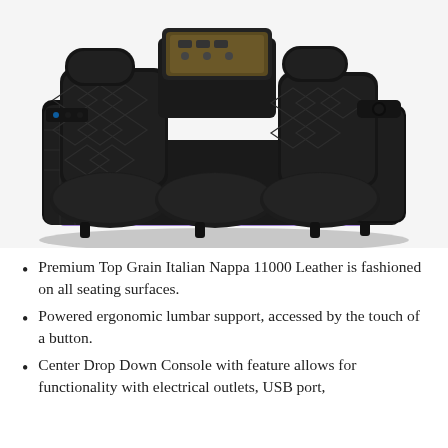[Figure (photo): Black leather premium home theater recliner sofa with diamond-stitched pattern, fold-down center console with tray, powered headrests, and purple LED underglow lighting.]
Premium Top Grain Italian Nappa 11000 Leather is fashioned on all seating surfaces.
Powered ergonomic lumbar support, accessed by the touch of a button.
Center Drop Down Console with feature allows for functionality with electrical outlets, USB port,